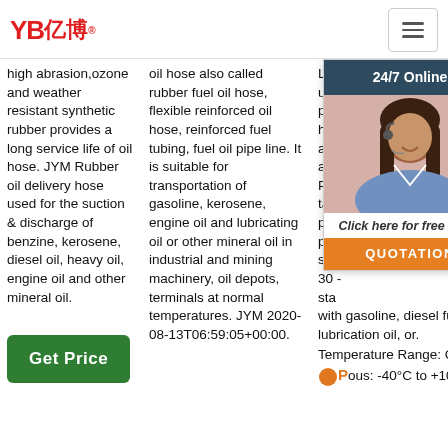YB亿博® [logo with hamburger menu]
high abrasion,ozone and weather resistant synthetic rubber provides a long service life of oil hose. JYM Rubber oil delivery hose used for the suction & discharge of benzine, kerosene, diesel oil, heavy oil, engine oil and other mineral oil.
oil hose also called rubber fuel oil hose, flexible reinforced oil hose, reinforced fuel tubing, fuel oil pipe line. It is suitable for transportation of gasoline, kerosene, engine oil and lubricating oil or other mineral oil in industrial and mining machinery, oil depots, terminals at normal temperatures. JYM 2020-08-13T06:59:05+00:00.
Low Pressure cou... und... per... hos... and app... Phy... tab... per... pro... spe... 30 - sta... with gasoline, diesel fuel, lubrication oil, or. Temperature Range: Continuous: -40°C to +100°C.
[Figure (screenshot): 24/7 Online chat widget with a woman wearing a headset, 'Click here for free chat!' text, and an orange QUOTATION button]
Get Price